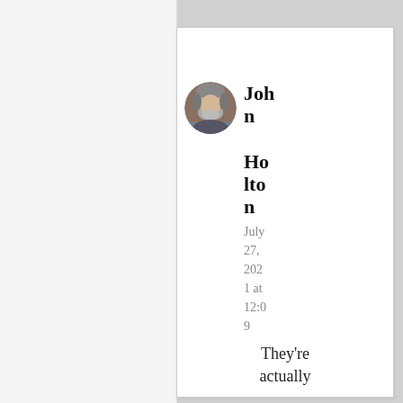[Figure (photo): Circular avatar photo of an older man with gray hair and beard]
John Holton
July 27, 2021 at 12:09
They're actually